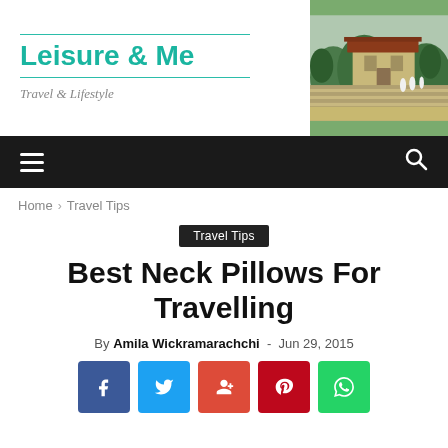Leisure & Me — Travel & Lifestyle
[Figure (photo): Outdoor photo of a historic stone building with steps and greenery, Sri Lanka]
Home › Travel Tips
Travel Tips
Best Neck Pillows For Travelling
By Amila Wickramarachchi - Jun 29, 2015